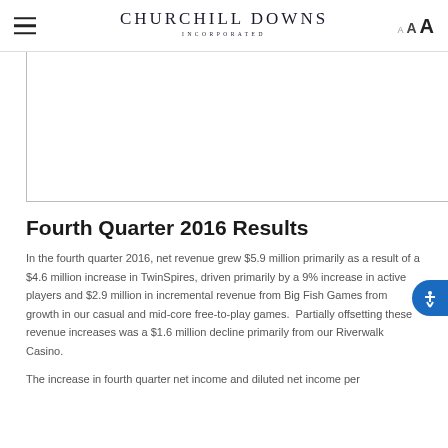Churchill Downs Incorporated
[Figure (other): Partial image/chart area visible at top of content, clipped by page boundary]
Fourth Quarter 2016 Results
In the fourth quarter 2016, net revenue grew $5.9 million primarily as a result of a $4.6 million increase in TwinSpires, driven primarily by a 9% increase in active players and $2.9 million in incremental revenue from Big Fish Games from growth in our casual and mid-core free-to-play games.  Partially offsetting these revenue increases was a $1.6 million decline primarily from our Riverwalk Casino.
The increase in fourth quarter net income and diluted net income per